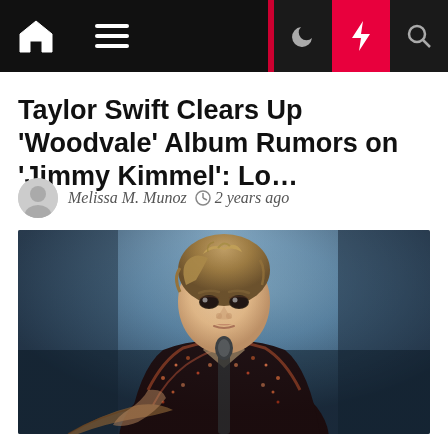Navigation bar with home, menu, dark mode, lightning/breaking news, and search icons
Taylor Swift Clears Up 'Woodvale' Album Rumors on 'Jimmy Kimmel': Lo…
Melissa M. Munoz  2 years ago
[Figure (photo): Photo of Taylor Swift in a dark sequined jacket holding a guitar, performing against a blue-grey background]